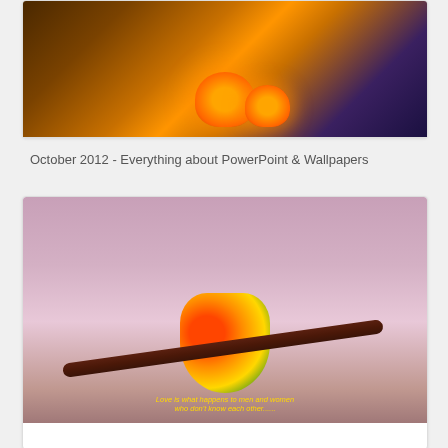[Figure (illustration): Halloween themed illustration showing glowing jack-o-lantern pumpkins on a porch with a ghost, black cat, crescent moon, and spider webs in a dark atmospheric setting]
October 2012 - Everything about PowerPoint & Wallpapers
[Figure (photo): Two sun conure parrots with orange-red heads and yellow-green bodies perched together on a dark branch against a pink-purple sky background. Text overlay reads: Love is what happens to men and women who don't know each other......]